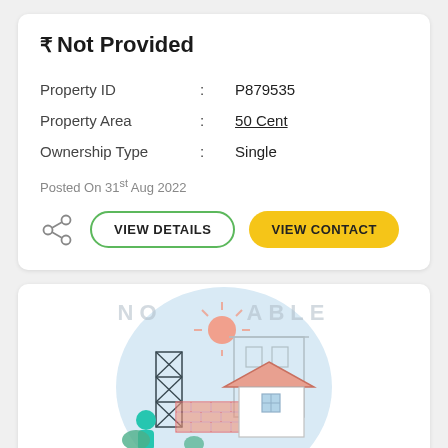₹ Not Provided
Property ID : P879535
Property Area : 50 Cent
Ownership Type : Single
Posted On 31st Aug 2022
[Figure (illustration): No image available placeholder illustration showing a construction/real estate scene with a house, bricks, scaffolding tower, person, and sun, inside a light blue circle. Text overlay reads 'NOT AVAILABLE'.]